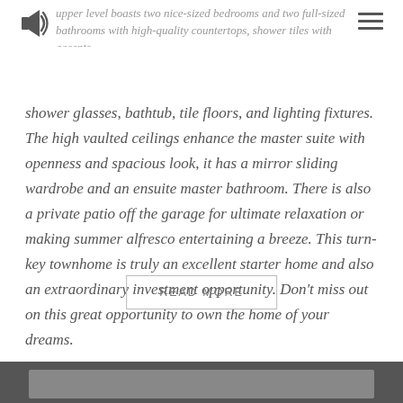upper level boasts two nice-sized bedrooms and two full-sized bathrooms with high-quality countertops, shower tiles with accents, shower glasses, bathtub, tile floors, and lighting fixtures.
shower glasses, bathtub, tile floors, and lighting fixtures. The high vaulted ceilings enhance the master suite with openness and spacious look, it has a mirror sliding wardrobe and an ensuite master bathroom. There is also a private patio off the garage for ultimate relaxation or making summer alfresco entertaining a breeze. This turn-key townhome is truly an excellent starter home and also an extraordinary investment opportunity. Don't miss out on this great opportunity to own the home of your dreams.
READ MORE